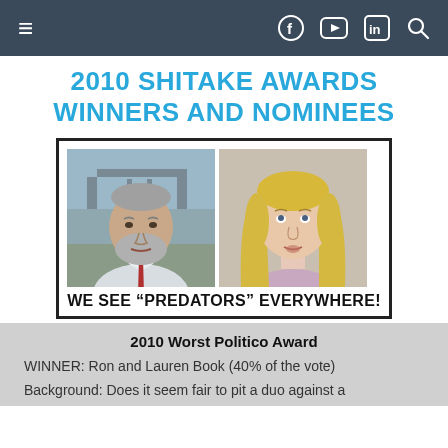Navigation bar with hamburger menu, Facebook, YouTube, LinkedIn, and Search icons
2010 SHITAKE AWARDS WINNERS AND NOMINEES
[Figure (photo): Two photos side by side: an older man with a beard wearing a white shirt and red tie, and a young blonde woman. Caption below reads: WE SEE "PREDATORS" EVERYWHERE!]
2010 Worst Politico Award
WINNER: Ron and Lauren Book (40% of the vote)
Background: Does it seem fair to pit a duo against a